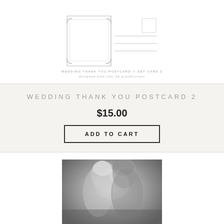[Figure (illustration): Back of a wedding thank you postcard template showing decorative border on left side and address lines on right side, with text below reading 'WEDDING THANK YOU POSTCARD // SET CARD 2' and 'designed with chic bb gratifictions']
WEDDING THANK YOU POSTCARD // SET CARD 2
designed with chic bb gratifictions
WEDDING THANK YOU POSTCARD 2
$15.00
ADD TO CART
[Figure (photo): Black and white photograph of a couple kissing closely, romantic wedding style image]